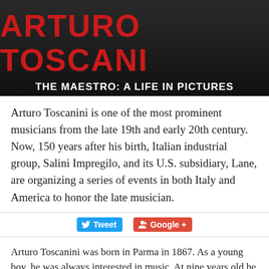ARTURO TOSCANINI THE MAESTRO: A LIFE IN PICTURES
Arturo Toscanini is one of the most prominent musicians from the late 19th and early 20th century. Now, 150 years after his birth, Italian industrial group, Salini Impregilo, and its U.S. subsidiary, Lane, are organizing a series of events in both Italy and America to honor the late musician.
Tweet  Google +
Arturo Toscanini was born in Parma in 1867. As a young boy, he was always interested in music. At nine years old he received a scholarship to play the cello, and his music career took off from there. In 1898 he became the director of Milan's Teatro alla Scala;